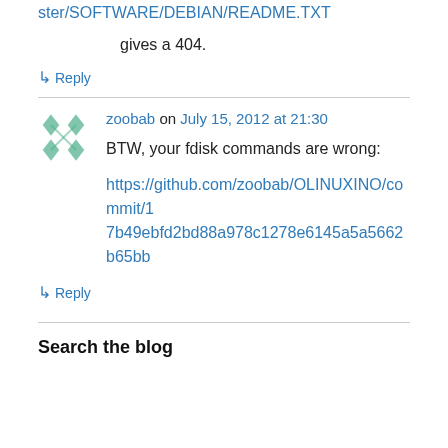ster/SOFTWARE/DEBIAN/README.TXT
gives a 404.
↳ Reply
zoobab on July 15, 2012 at 21:30
BTW, your fdisk commands are wrong:
https://github.com/zoobab/OLINUXINO/commit/17b49ebfd2bd88a978c1278e6145a5a5662b65bb
↳ Reply
Search the blog